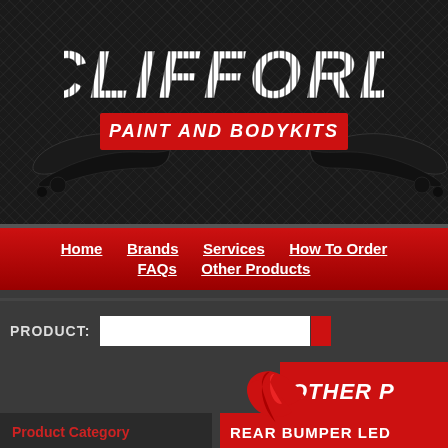[Figure (logo): Clifford Paint and Bodykits logo with carbon fiber background, wings graphic, and red banner]
Home | Brands | Services | How To Order | FAQs | Other Products
PRODUCT:
[Figure (logo): Other Products banner with red wing flame graphic]
Product Category
REAR BUMPER LED